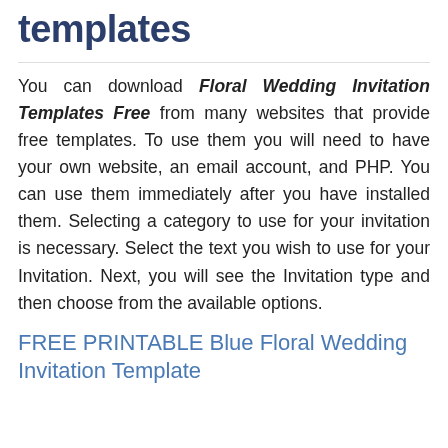with our easy to use templates
You can download Floral Wedding Invitation Templates Free from many websites that provide free templates. To use them you will need to have your own website, an email account, and PHP. You can use them immediately after you have installed them. Selecting a category to use for your invitation is necessary. Select the text you wish to use for your Invitation. Next, you will see the Invitation type and then choose from the available options.
FREE PRINTABLE Blue Floral Wedding Invitation Template